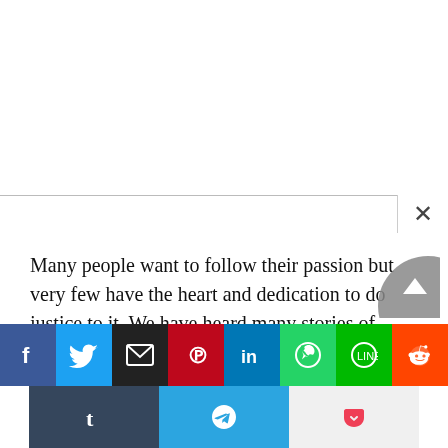Many people want to follow their passion but very few have the heart and dedication to do justice to it. We have heard many stories of people who left their jobs to follow their true heart desires but Firas Kazma’s story is a little different.
Firas Kazma is a CEO of many companies in Middle-East and also has a vibrant blog, and he loves both
[Figure (screenshot): Social media share buttons bar: Facebook (blue), Twitter (blue), Email (black), Pinterest (red/dark), LinkedIn (blue), WhatsApp (green), Line (green), Reddit (orange). Second row: Tumblr (dark blue), Telegram (blue), Pocket (light gray/red).]